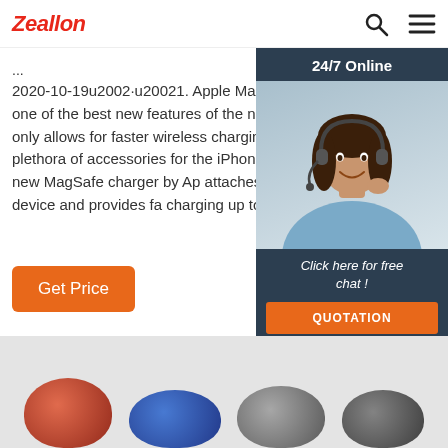Zeallon
...
2020-10-19u2002·u20021. Apple MagSafe Charger. I think one of the best new features of the new iPhones is MagSafe. It not only allows for faster wireless charging but also opens doors for a plethora of accessories for the iPhone 12, 12 Pro and 12 Pro Max. The new MagSafe charger by Apple magnetically attaches to the back of the device and provides fast wireless charging up to 15W.
[Figure (photo): Customer service representative with headset, smiling, overlaid with '24/7 Online' header, 'Click here for free chat!' text, and QUOTATION button on dark blue background]
[Figure (photo): Product images row showing colored rounded cable accessories in red, blue, gray, and dark gray against light gray background]